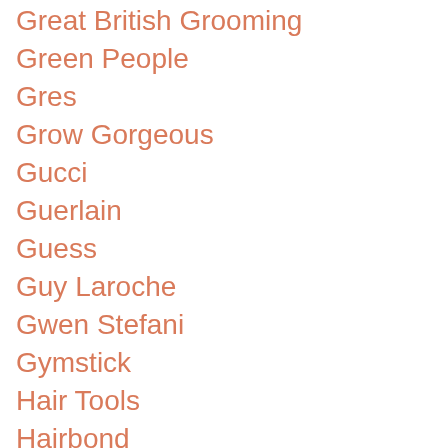Great British Grooming
Green People
Gres
Grow Gorgeous
Gucci
Guerlain
Guess
Guy Laroche
Gwen Stefani
Gymstick
Hair Tools
Hairbond